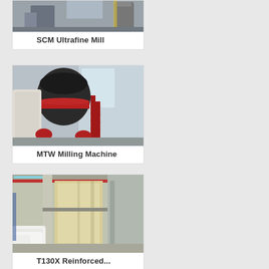[Figure (photo): Industrial SCM Ultrafine Mill machine in a factory setting, showing metal equipment and machinery.]
SCM Ultrafine Mill
[Figure (photo): MTW Milling Machine in an industrial facility, a large black and red cylindrical grinding mill with red metal stairs/walkway.]
MTW Milling Machine
[Figure (photo): Industrial milling/powder processing facility interior showing large white bags of processed material and yellow equipment.]
T130X Reinforced...